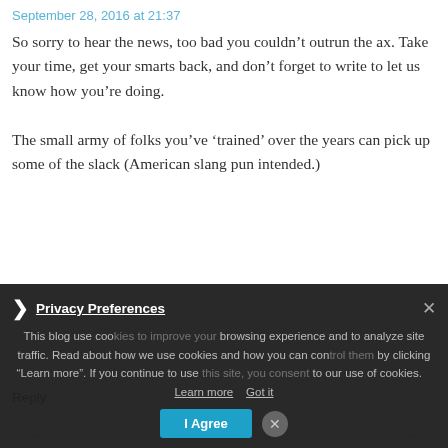September 28, 2016 at 21:37
So sorry to hear the news, too bad you couldn’t outrun the ax. Take your time, get your smarts back, and don’t forget to write to let us know how you’re doing.
The small army of folks you’ve ‘trained’ over the years can pick up some of the slack (American slang pun intended.)
Reply
[Figure (illustration): Avatar image for user Askfor - green pixel/mosaic pattern]
Askfor
October 2, 2016 at 15:24
Sorry to hear that. It is shame that there are relatively
This blog use cookies to improve your browsing experience and to analyze site traffic. Read about how we use cookies and how you can control them by clicking "Learn more". If you continue to use this site, you consent to our use of cookies.   Learn more   Got it
Privacy Preferences
I Agree